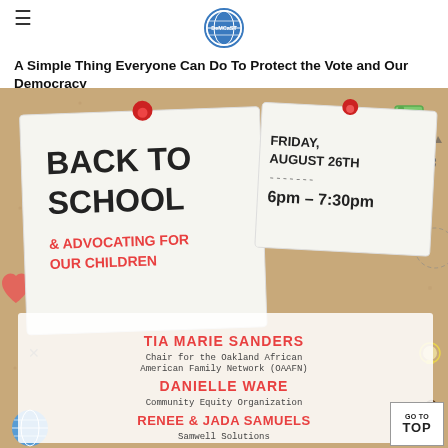DemCast logo and hamburger menu
A Simple Thing Everyone Can Do To Protect the Vote and Our Democracy
AUGUST 19, 2022
[Figure (infographic): Back to School & Advocating for Our Children event flyer on a corkboard background. Features sticky notes with text: BACK TO SCHOOL & ADVOCATING FOR OUR CHILDREN, FRIDAY, AUGUST 26TH, 6pm - 7:30pm. Speakers listed: TIA MARIE SANDERS - Chair for the Oakland African American Family Network (OAAFN), DANIELLE WARE - Community Equity Organization, RENEE & JADA SAMUELS - Samwell Solutions.]